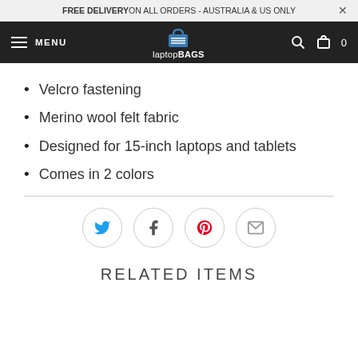FREE DELIVERY ON ALL ORDERS - AUSTRALIA & US ONLY
[Figure (screenshot): E-commerce navigation bar with hamburger menu, laptop bags logo, search and cart icons]
Velcro fastening
Merino wool felt fabric
Designed for 15-inch laptops and tablets
Comes in 2 colors
[Figure (infographic): Social sharing icons row: Twitter, Facebook, Pinterest, Email]
RELATED ITEMS